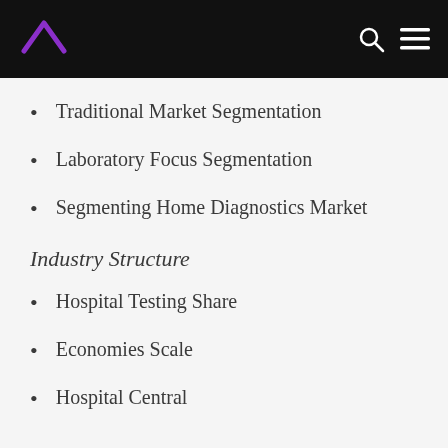Traditional Market Segmentation
Laboratory Focus Segmentation
Segmenting Home Diagnostics Market
Industry Structure
Hospital Testing Share
Economies Scale
Hospital Central